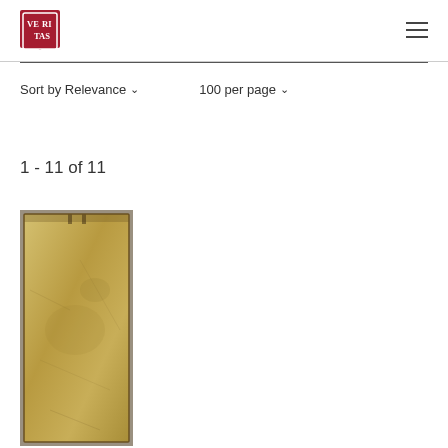Harvard University Library
Sort by Relevance ∨   100 per page ∨
Understanding My Search Results
1 - 11 of 11
[Figure (photo): Thumbnail image of an aged parchment or manuscript page with yellowish-brown color, shown on a gray background]